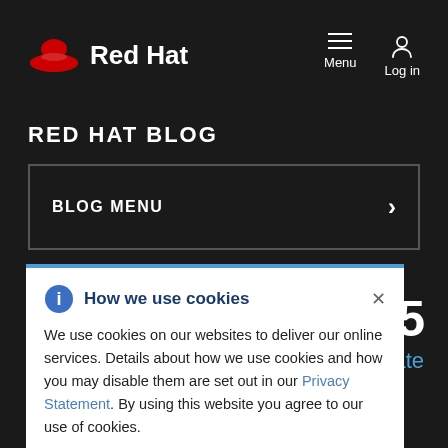[Figure (logo): Red Hat logo with red fedora hat icon and white text 'Red Hat']
Menu   Log in
RED HAT BLOG
BLOG MENU
8, 2015
ate
How we use cookies
We use cookies on our websites to deliver our online services. Details about how we use cookies and how you may disable them are set out in our Privacy Statement. By using this website you agree to our use of cookies.